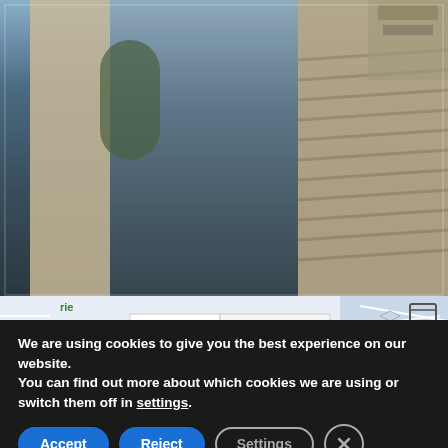[Figure (photo): Street-level photo of a narrow alleyway between stone/stucco buildings, with green ivy or plants visible, stairs on the right side, taken from a slightly elevated perspective looking down into the alley.]
[Figure (map): Partial Google Maps view showing map/satellite toggle tabs and a street map. Labels visible: 'Map', 'Satellite', and a green location label partially visible on the left ('rie...'). Expand icon in top right.]
We are using cookies to give you the best experience on our website.
You can find out more about which cookies we are using or switch them off in settings.
Accept
Reject
Settings